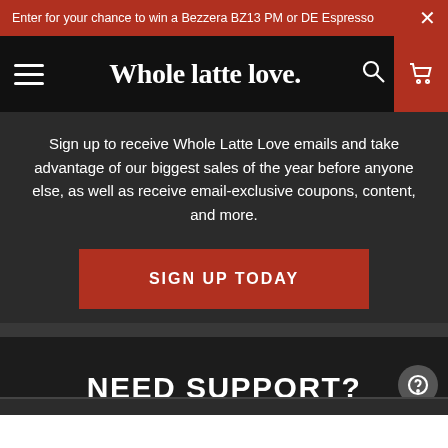Enter for your chance to win a Bezzera BZ13 PM or DE Espresso
[Figure (logo): Whole latte love. logo in white serif font on black navigation bar with hamburger menu, search icon, and red cart icon]
Sign up to receive Whole Latte Love emails and take advantage of our biggest sales of the year before anyone else, as well as receive email-exclusive coupons, content, and more.
SIGN UP TODAY
NEED SUPPORT?